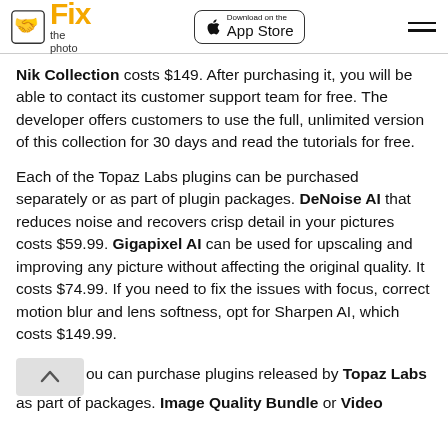Fix the Photo | Download on the App Store
Nik Collection costs $149. After purchasing it, you will be able to contact its customer support team for free. The developer offers customers to use the full, unlimited version of this collection for 30 days and read the tutorials for free.
Each of the Topaz Labs plugins can be purchased separately or as part of plugin packages. DeNoise AI that reduces noise and recovers crisp detail in your pictures costs $59.99. Gigapixel AI can be used for upscaling and improving any picture without affecting the original quality. It costs $74.99. If you need to fix the issues with focus, correct motion blur and lens softness, opt for Sharpen AI, which costs $149.99.
You can purchase plugins released by Topaz Labs as part of packages. Image Quality Bundle or Video